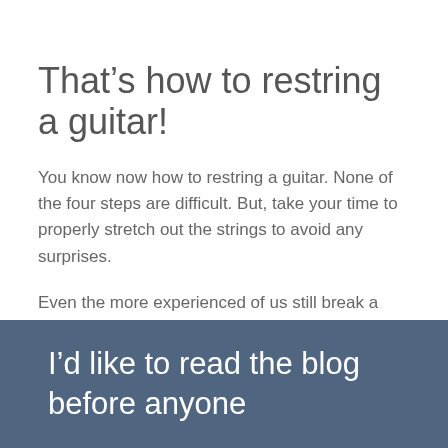That’s how to restring a guitar!
You know now how to restring a guitar. None of the four steps are difficult. But, take your time to properly stretch out the strings to avoid any surprises.
Even the more experienced of us still break a string playing or when restring. So don’t worry if you occasionally snap one.
I’d love to know what is your favorite brand and gauge of strings? Do you have a particular string brand you can’t live without?
I’d like to read the blog before anyone